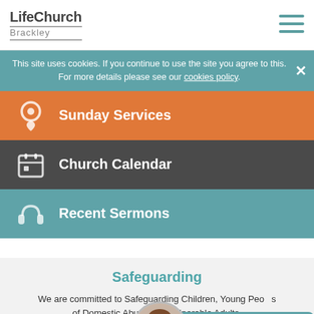LifeChurch Brackley
This site uses cookies. If you continue to use the site you agree to this. For more details please see our cookies policy.
Sunday Services
Church Calendar
Recent Sermons
Safeguarding
We are committed to Safeguarding Children, Young People, Survivors of Domestic Abuse and Vulnerable Adults. Our Safeguarding Lead is Nathan Smith, our Safeguarding Deputy is Paul Hodson and Deputy Tara can be contacted at any time on: tara@lifechurchbrackley.com.
Visitors click here.